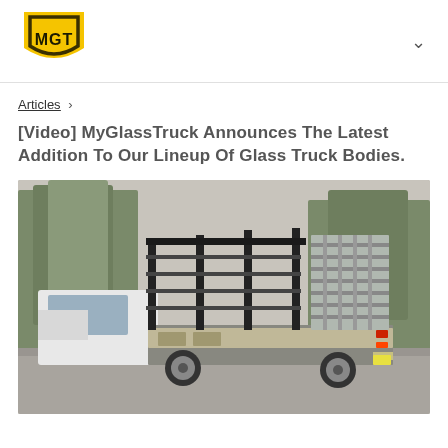[Figure (logo): MGT yellow shield logo with MGT text in black]
Articles >
[Video] MyGlassTruck Announces The Latest Addition To Our Lineup Of Glass Truck Bodies.
[Figure (photo): A white commercial truck with a glass transport body featuring black vertical frames and aluminum horizontal racks, parked in a lot with trees in the background.]